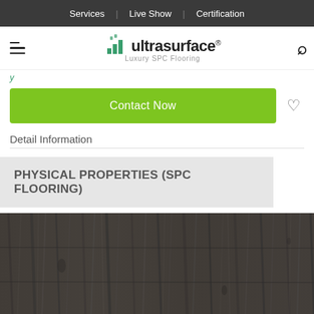Services | Live Show | Certification
[Figure (logo): Ultrasurface Luxury SPC Flooring logo with green building icon and hamburger menu]
Contact Now
Detail Information
PHYSICAL PROPERTIES (SPC FLOORING)
[Figure (photo): Dark gray wood grain SPC flooring texture photo]